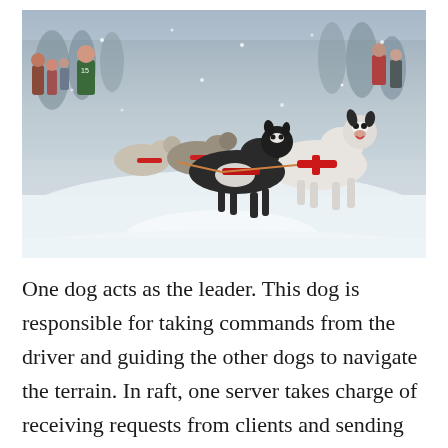[Figure (photo): A team of Siberian Husky sled dogs running through a snowy trail. The dogs are wearing red harnesses and are connected by lines. Multiple dogs are visible running energetically, with people visible in the background watching the sled race. Snow is falling and trees are in the background.]
One dog acts as the leader. This dog is responsible for taking commands from the driver and guiding the other dogs to navigate the terrain. In raft, one server takes charge of receiving requests from clients and sending